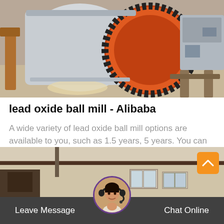[Figure (photo): Industrial ball mill machinery with large gear wheel, orange/red housing, and grey cylindrical drum, photographed outdoors]
lead oxide ball mill - Alibaba
A wide variety of lead oxide ball mill options are available to you, such as 1.5 years, 5 years. You can also choose from none, egypt, and united states lea...
[Figure (photo): Industrial factory building exterior with beige walls and windows, partially visible at bottom of page]
[Figure (photo): Customer service representative avatar — woman with headset, circular crop with purple border]